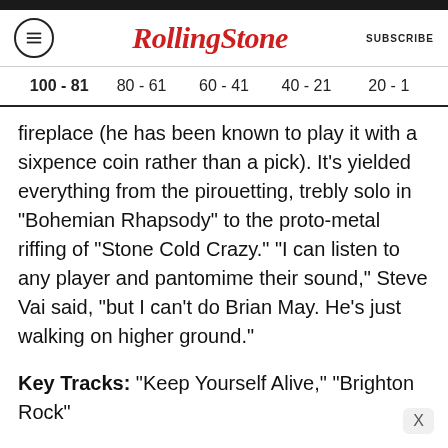Rolling Stone
100 - 81  80 - 61  60 - 41  40 - 21  20 - 1
fireplace (he has been known to play it with a sixpence coin rather than a pick). It's yielded everything from the pirouetting, trebly solo in "Bohemian Rhapsody" to the proto-metal riffing of "Stone Cold Crazy." "I can listen to any player and pantomime their sound," Steve Vai said, "but I can't do Brian May. He's just walking on higher ground."
Key Tracks: "Keep Yourself Alive," "Brighton Rock"